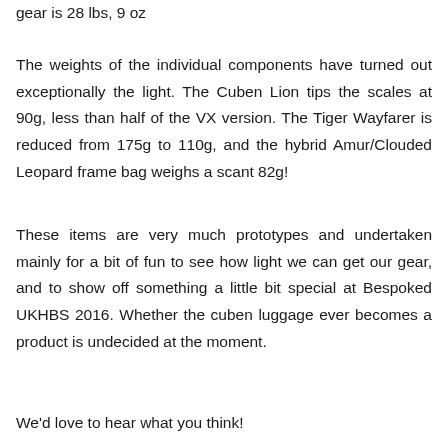gear is 28 lbs, 9 oz
The weights of the individual components have turned out exceptionally the light. The Cuben Lion tips the scales at 90g, less than half of the VX version. The Tiger Wayfarer is reduced from 175g to 110g, and the hybrid Amur/Clouded Leopard frame bag weighs a scant 82g!
These items are very much prototypes and undertaken mainly for a bit of fun to see how light we can get our gear, and to show off something a little bit special at Bespoked UKHBS 2016. Whether the cuben luggage ever becomes a product is undecided at the moment.
We'd love to hear what you think!